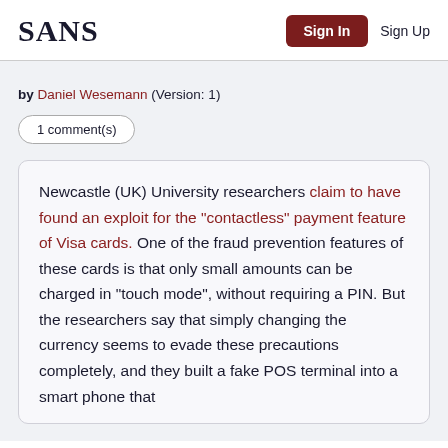SANS | Sign In | Sign Up
by Daniel Wesemann (Version: 1)
1 comment(s)
Newcastle (UK) University researchers claim to have found an exploit for the "contactless" payment feature of Visa cards. One of the fraud prevention features of these cards is that only small amounts can be charged in "touch mode", without requiring a PIN. But the researchers say that simply changing the currency seems to evade these precautions completely, and they built a fake POS terminal into a smart phone that